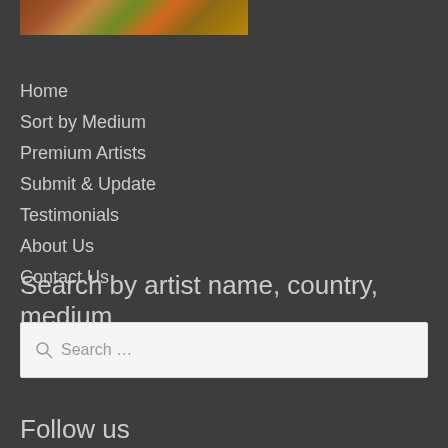[Figure (photo): Partial view of a colorful artwork or food image with warm tones of orange, green, and brown]
Home
Sort by Medium
Premium Artists
Submit & Update
Testimonials
About Us
Contact Us
Search by artist name, country, medium
Search …
Follow us